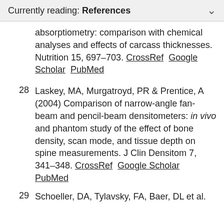Currently reading: References
absorptiometry: comparison with chemical analyses and effects of carcass thicknesses. Nutrition 15, 697–703. CrossRef Google Scholar PubMed
28 Laskey, MA, Murgatroyd, PR & Prentice, A (2004) Comparison of narrow-angle fan-beam and pencil-beam densitometers: in vivo and phantom study of the effect of bone density, scan mode, and tissue depth on spine measurements. J Clin Densitom 7, 341–348. CrossRef Google Scholar PubMed
29 Schoeller, DA, Tylavsky, FA, Baer, DL et al.